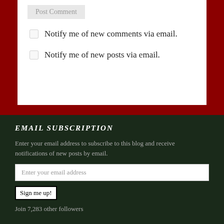Post Comment
Notify me of new comments via email.
Notify me of new posts via email.
EMAIL SUBSCRIPTION
Enter your email address to subscribe to this blog and receive notifications of new posts by email.
Enter your email address
Sign me up!
Join 7,283 other followers